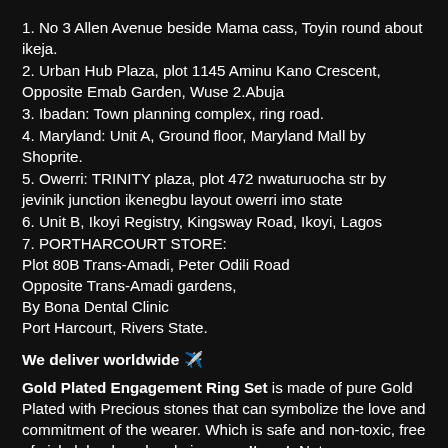1. No 3 Allen Avenue beside Mama cass, Toyin round about ikeja.
2. Urban Hub Plaza, plot 1145 Aminu Kano Crescent, Opposite Emab Garden, Wuse 2.Abuja
3. Ibadan: Town planning complex, ring road.
4. Maryland: Unit A, Ground floor, Maryland Mall by Shoprite.
5. Owerri: TRINITY plaza, plot 472 nwaturuocha str by jevinik junction ikenegbu layout owerri imo state
6. Unit B, Ikoyi Registry, Kingsway Road, Ikoyi, Lagos
7. PORTHARCOURT STORE: Plot 80B Trans-Amadi, Peter Odili Road Opposite Trans-Amadi gardens, By Bona Dental Clinic Port Harcourt, Rivers State.
We deliver worldwide ✈️
Gold Plated Engagement Ring Set is made of pure Gold Plated with Precious stones that can symbolize the love and commitment of the wearer. Which is safe and non-toxic, free of nickel, lead, and cadmium.won't rust. Not